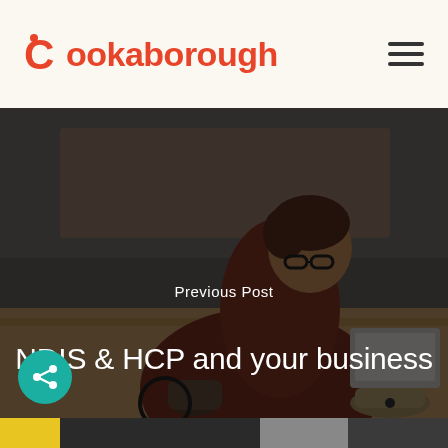Cookaborough
[Figure (photo): A woman in a red jacket wearing glasses, seated in a wheelchair, working on a laptop at a wooden table with coffee and food nearby. Background is blurred gray/brown tones. Overlay text reads 'Previous Post' and 'NDIS & HCP and your business'.]
Previous Post
NDIS & HCP and your business
[Figure (photo): Bottom strip showing partial view of a kitchen/restaurant environment with yellow, dark, and gray tones.]